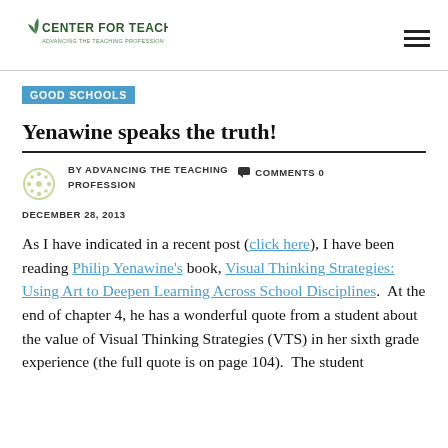Center for Teaching — Advancing the Teaching Profession
GOOD SCHOOLS
Yenawine speaks the truth!
BY ADVANCING THE TEACHING PROFESSION   COMMENTS 0
DECEMBER 28, 2013
As I have indicated in a recent post (click here), I have been reading Philip Yenawine's book, Visual Thinking Strategies: Using Art to Deepen Learning Across School Disciplines.  At the end of chapter 4, he has a wonderful quote from a student about the value of Visual Thinking Strategies (VTS) in her sixth grade experience (the full quote is on page 104).  The student